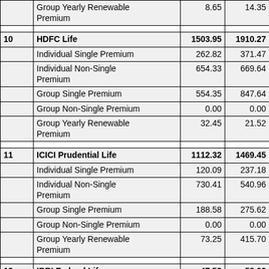|  |  |  |  |
| --- | --- | --- | --- |
|  | Group Yearly Renewable Premium | 8.65 | 14.35 |
|  |  |  |  |
| 10 | HDFC Life | 1503.95 | 1910.27 |
|  | Individual Single Premium | 262.82 | 371.47 |
|  | Individual Non-Single Premium | 654.33 | 669.64 |
|  | Group Single Premium | 554.35 | 847.64 |
|  | Group Non-Single Premium | 0.00 | 0.00 |
|  | Group Yearly Renewable Premium | 32.45 | 21.52 |
|  |  |  |  |
| 11 | ICICI Prudential Life | 1112.32 | 1469.45 |
|  | Individual Single Premium | 120.09 | 237.18 |
|  | Individual Non-Single Premium | 730.41 | 540.96 |
|  | Group Single Premium | 188.58 | 275.62 |
|  | Group Non-Single Premium | 0.00 | 0.00 |
|  | Group Yearly Renewable Premium | 73.25 | 415.70 |
|  |  |  |  |
| 12 | IDBI Federal Life | 47.53 | 58.03 |
|  | Individual Single Premium | 11.37 | 18.13 |
|  | Individual Non-Single Premium | 21.52 | 29.81 |